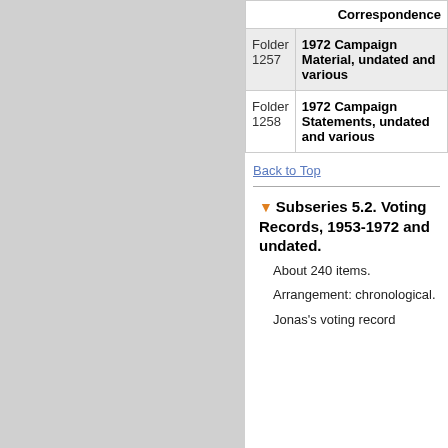|  | Correspondence |
| --- | --- |
| Folder 1257 | 1972 Campaign Material, undated and various |
| Folder 1258 | 1972 Campaign Statements, undated and various |
Back to Top
Subseries 5.2. Voting Records, 1953-1972 and undated.
About 240 items.
Arrangement: chronological.
Jonas's voting record